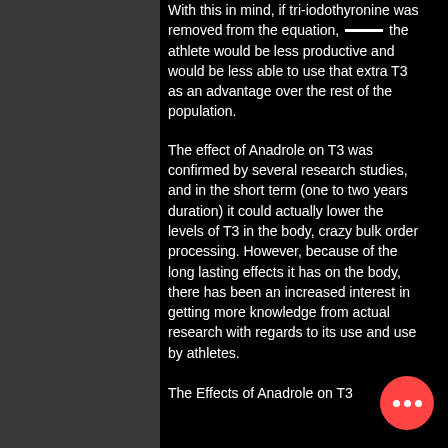With this in mind, if tri-iodothyronine was removed from the equation, the athlete would be less productive and would be less able to use that extra T3 as an advantage over the rest of the population.
The effect of Anadrole on T3 was confirmed by several research studies, and in the short term (one to two years duration) it could actually lower the levels of T3 in the body, crazy bulk order processing. However, because of the long lasting effects it has on the body, there has been an increased interest in getting more knowledge from actual research with regards to its use and use by athletes.
The Effects of Anadrole on T3